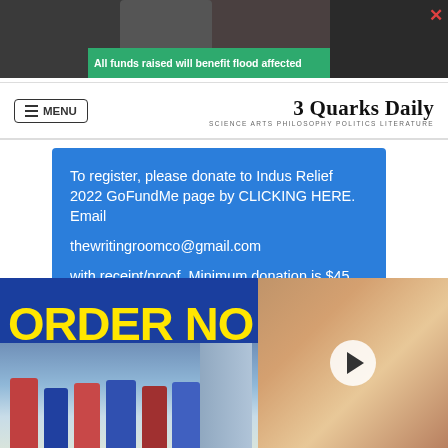[Figure (screenshot): Top banner showing a person in dark background with a green strip reading 'All funds raised will benefit flood affected' and a close X button in red.]
MENU | 3 Quarks Daily
SCIENCE ARTS PHILOSOPHY POLITICS LITERATURE
To register, please donate to Indus Relief 2022 GoFundMe page by CLICKING HERE. Email thewritingroomco@gmail.com with receipt/proof. Minimum donation is $45 outside Pakistan and Rs. 3,500 inside, but please give as generously as possible!
[Figure (screenshot): Bottom advertisement banner with dark blue background, yellow bold text 'ORDER NO' (truncated), people photo at bottom left, and a video overlay with play button on the right side.]